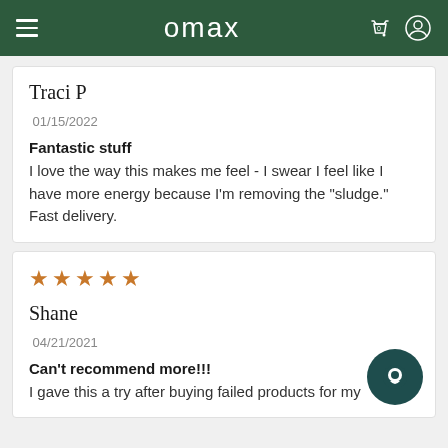omax
Traci P
01/15/2022
Fantastic stuff
I love the way this makes me feel - I swear I feel like I have more energy because I'm removing the "sludge." Fast delivery.
[Figure (other): Five orange/gold star rating icons]
Shane
04/21/2021
Can't recommend more!!!
I gave this a try after buying failed products for my